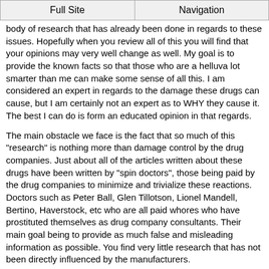Full Site | Navigation
body of research that has already been done in regards to these issues. Hopefully when you review all of this you will find that your opinions may very well change as well. My goal is to provide the known facts so that those who are a helluva lot smarter than me can make some sense of all this. I am considered an expert in regards to the damage these drugs can cause, but I am certainly not an expert as to WHY they cause it. The best I can do is form an educated opinion in that regards.
The main obstacle we face is the fact that so much of this "research" is nothing more than damage control by the drug companies. Just about all of the articles written about these drugs have been written by "spin doctors", those being paid by the drug companies to minimize and trivialize these reactions. Doctors such as Peter Ball, Glen Tillotson, Lionel Mandell, Bertino, Haverstock, etc who are all paid whores who have prostituted themselves as drug company consultants. Their main goal being to provide as much false and misleading information as possible. You find very little research that has not been directly influenced by the manufacturers.
DNA damage is the only logical conclusion I can reach in regards to how these drugs can continue to cause serious problems for decades after they have been consumed.